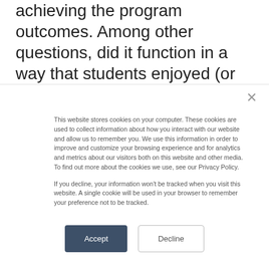achieving the program outcomes. Among other questions, did it function in a way that students enjoyed (or didn't hate) and in a way that contributed to (or didn't interfere with)
This website stores cookies on your computer. These cookies are used to collect information about how you interact with our website and allow us to remember you. We use this information in order to improve and customize your browsing experience and for analytics and metrics about our visitors both on this website and other media. To find out more about the cookies we use, see our Privacy Policy.

If you decline, your information won't be tracked when you visit this website. A single cookie will be used in your browser to remember your preference not to be tracked.